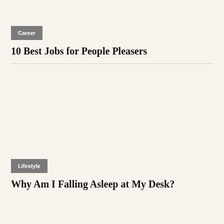Career
10 Best Jobs for People Pleasers
Lifestyle
Why Am I Falling Asleep at My Desk?